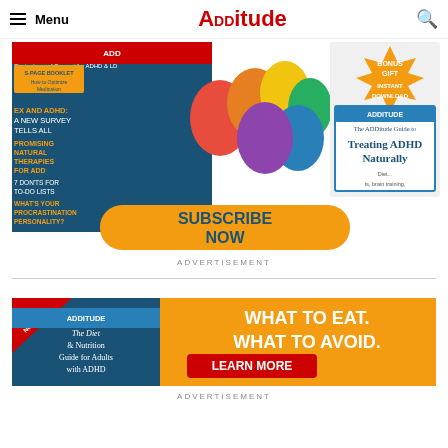Menu | ADDitude | [search]
[Figure (illustration): ADDitude magazine subscription advertisement showing magazine cover with 'The Power of Positive Parenting' and a bonus gift 'The ADDitude Guide to Treating ADHD Naturally' with a gold 'SUBSCRIBE NOW' button]
ADVERTISEMENT
[Figure (illustration): ADDitude eBook advertisement: 'New eBook - The Diet & Nutrition Guide for Adults with ADHD' with orange background reading 'WHAT TO EAT. WHAT TO AVOID. LEARN MORE']
ADVERTISEMENT